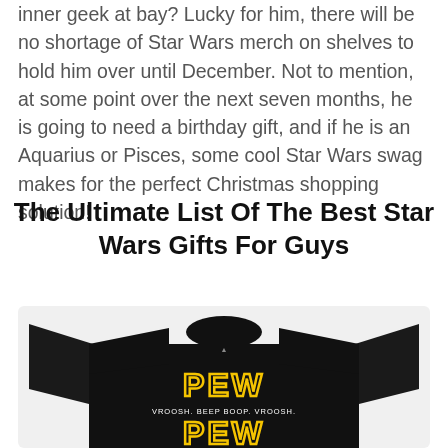inner geek at bay? Lucky for him, there will be no shortage of Star Wars merch on shelves to hold him over until December. Not to mention, at some point over the next seven months, he is going to need a birthday gift, and if he is an Aquarius or Pisces, some cool Star Wars swag makes for the perfect Christmas shopping solution!
The Ultimate List Of The Best Star Wars Gifts For Guys
[Figure (photo): A black t-shirt with yellow Star Wars style text reading 'PEW PEW' with 'VROOSH. BEEP BOOP. VROOSH.' in smaller text between the two PEW words.]